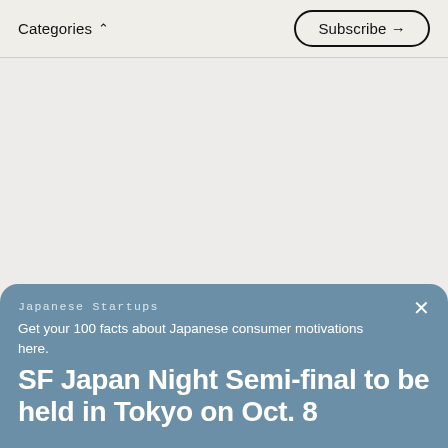Categories ∧   Subscribe →
[Figure (other): Large blank beige/grey content area, presumably where an image or article content would load]
Japanese Startups
Get your 100 facts about Japanese consumer motivations here.
SF Japan Night Semi-final to be held in Tokyo on Oct. 8